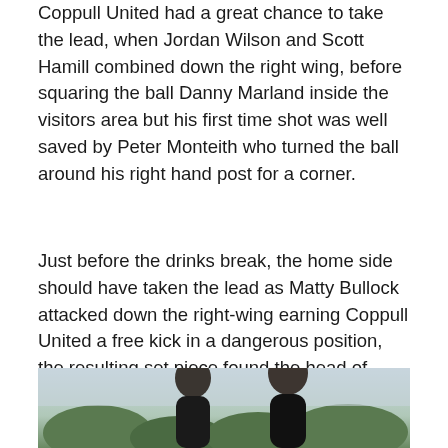Coppull United had a great chance to take the lead, when Jordan Wilson and Scott Hamill combined down the right wing, before squaring the ball Danny Marland inside the visitors area but his first time shot was well saved by Peter Monteith who turned the ball around his right hand post for a corner.
Just before the drinks break, the home side should have taken the lead as Matty Bullock attacked down the right-wing earning Coppull United a free kick in a dangerous position, the resulting set piece found the head of skipper Dave Parker by his header went straight into the arms of visiting keeper Peter Monteith.
[Figure (photo): A photograph showing football players on a pitch with trees and sky visible in the background.]